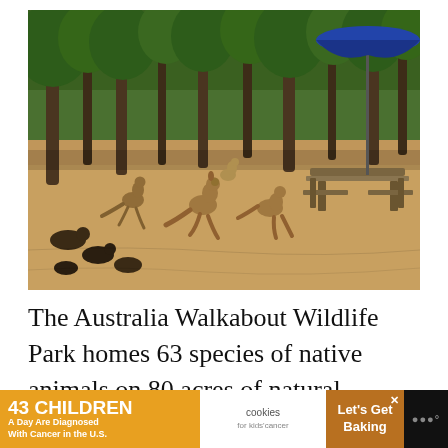[Figure (photo): Outdoor photo of kangaroos and wombats in a sandy open area with eucalyptus trees, a picnic table, and a blue umbrella at the Australia Walkabout Wildlife Park.]
The Australia Walkabout Wildlife Park homes 63 species of native animals on 80 acres of natural habitat. The land is p...
[Figure (infographic): Advertisement banner: '43 CHILDREN A Day Are Diagnosed With Cancer in the U.S.' with cookies for kids' cancer logo and 'Let's Get Baking' call to action.]